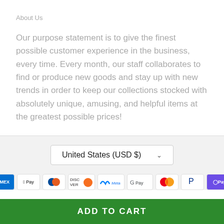About Us
Our purpose statement is to give the finest possible customer experience in the business, every time. Every month, our staff collaborates to find or produce new goods and stay up with new trends in order to keep our collections stocked with absolutely unique, amusing, and helpful items at the greatest possible prices!
United States (USD $)
[Figure (other): Payment method icons: AMEX, Apple Pay, Diners Club, Discover, Meta Pay, Google Pay, Mastercard, PayPal, OPay]
ADD TO CART